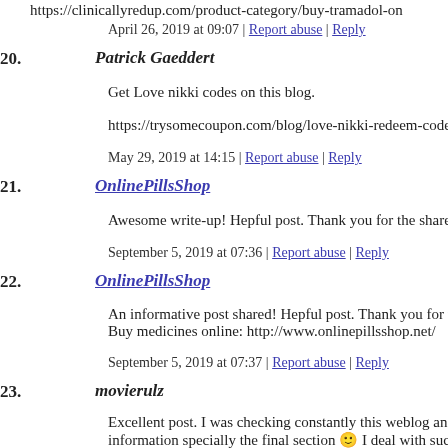https://clinicallyredup.com/product-category/buy-tramadol-on...
April 26, 2019 at 09:07 | Report abuse | Reply
20. Patrick Gaeddert
Get Love nikki codes on this blog.
https://trysomecoupon.com/blog/love-nikki-redeem-codes-pro...
May 29, 2019 at 14:15 | Report abuse | Reply
21. OnlinePillsShop
Awesome write-up! Hepful post. Thank you for the share.
September 5, 2019 at 07:36 | Report abuse | Reply
22. OnlinePillsShop
An informative post shared! Hepful post. Thank you for the sh... Buy medicines online: http://www.onlinepillsshop.net/
September 5, 2019 at 07:37 | Report abuse | Reply
23. movierulz
Excellent post. I was checking constantly this weblog and I am... information specially the final section 🙂 I deal with such info... certain info for a very long time. Thank you and best of luck.